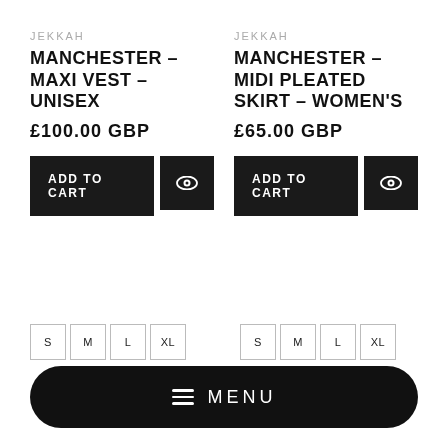JEKKAH
MANCHESTER - MAXI VEST - UNISEX
£100.00 GBP
ADD TO CART
JEKKAH
MANCHESTER - MIDI PLEATED SKIRT - WOMEN'S
£65.00 GBP
ADD TO CART
S M L XL
S M L XL
MENU